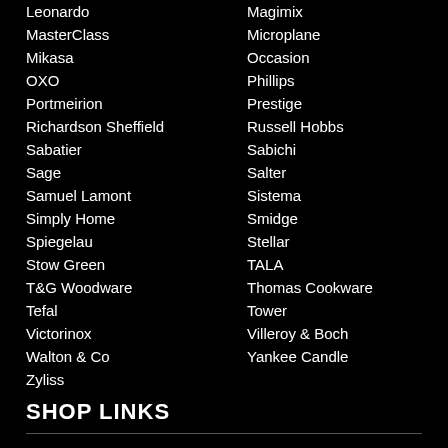Leonardo
Magimix
MasterClass
Microplane
Mikasa
Occasion
OXO
Phillips
Portmeirion
Prestige
Richardson Sheffield
Russell Hobbs
Sabatier
Sabichi
Sage
Salter
Samuel Lamont
Sistema
Simply Home
Smidge
Spiegelau
Stellar
Stow Green
TALA
T&G Woodware
Thomas Cookware
Tefal
Tower
Victorinox
Villeroy & Boch
Walton & Co
Yankee Candle
Zyliss
SHOP LINKS